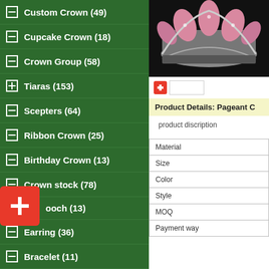— Animal Crown (131)
— Custom Crown (49)
— Cupcake Crown (18)
— Crown Group (58)
+ Tiaras (153)
— Scepters (64)
— Ribbon Crown (25)
— Birthday Crown (13)
— Crown stock (78)
— Brooch (13)
— Earring (36)
— Bracelet (11)
— Jewelry sets (20)
[Figure (photo): Pageant crown with pink rhinestone decorations on black background]
Product Details:  Pageant C
product discription
|  |
| --- |
| Material |
| Size |
| Color |
| Style |
| MOQ |
| Payment way |